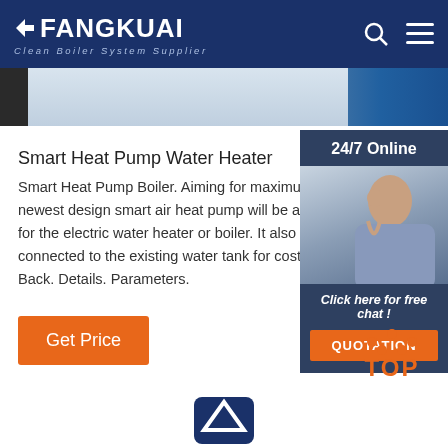FANGKUAI - Clean Boiler System Supplier
[Figure (photo): Hero banner image of industrial boiler equipment]
Smart Heat Pump Water Heater
Smart Heat Pump Boiler. Aiming for maximum e newest design smart air heat pump will be a pe for the electric water heater or boiler. It also ca connected to the existing water tank for cost sa Back. Details. Parameters.
[Figure (other): Get Price orange button]
[Figure (photo): 24/7 Online chat sidebar with customer service representative photo, Click here for free chat!, and QUOTATION button]
[Figure (other): TOP back-to-top button with orange dots]